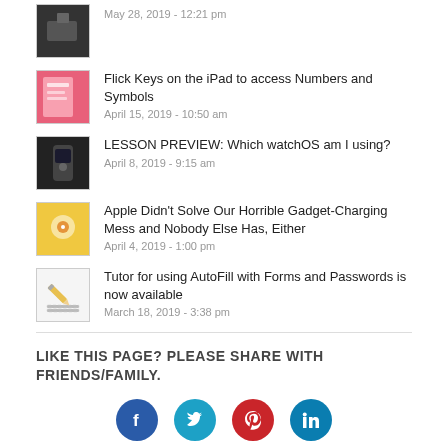May 28, 2019 - 12:21 pm
Flick Keys on the iPad to access Numbers and Symbols
April 15, 2019 - 10:50 am
LESSON PREVIEW: Which watchOS am I using?
April 8, 2019 - 9:15 am
Apple Didn't Solve Our Horrible Gadget-Charging Mess and Nobody Else Has, Either
April 4, 2019 - 1:00 pm
Tutor for using AutoFill with Forms and Passwords is now available
March 18, 2019 - 3:38 pm
LIKE THIS PAGE? PLEASE SHARE WITH FRIENDS/FAMILY.
[Figure (infographic): Social media share icons: Facebook, Twitter, Pinterest, LinkedIn]